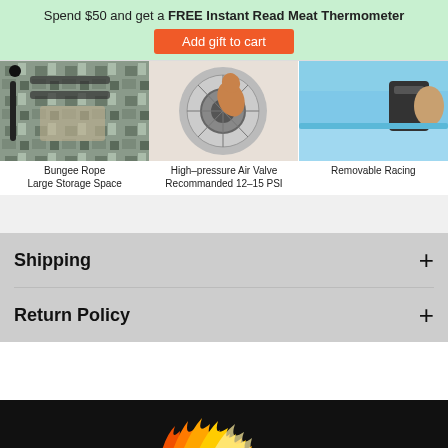Spend $50 and get a FREE Instant Read Meat Thermometer
Add gift to cart
[Figure (photo): Photo of paddleboard showing bungee rope and large storage space with camo bag]
Bungee Rope
Large Storage Space
[Figure (photo): Photo of high-pressure air valve being pressed by finger, circular valve labeled Funujos]
High–pressure Air Valve
Recommanded 12–15 PSI
[Figure (photo): Photo of removable racing fin on paddleboard]
Removable Racing
Shipping
Return Policy
[Figure (photo): Flame/fire graphic on black background]